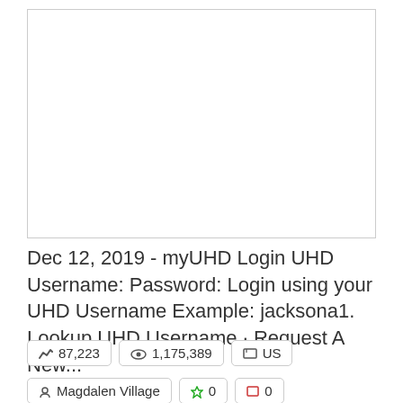[Figure (other): Empty white box with border, representing a screenshot or image placeholder]
Dec 12, 2019 - myUHD Login UHD Username: Password: Login using your UHD Username Example: jacksona1. Lookup UHD Username · Request A New...
87,223   1,175,389   US
Magdalen Village   0   0